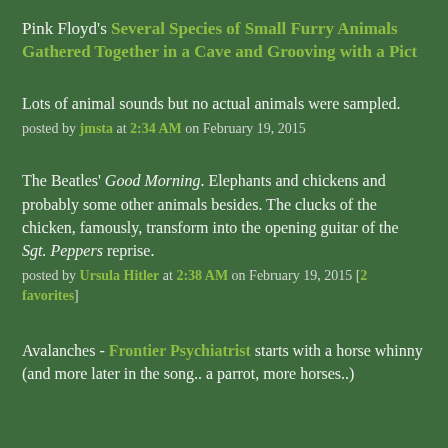Pink Floyd's Several Species of Small Furry Animals Gathered Together in a Cave and Grooving with a Pict
Lots of animal sounds but no actual animals were sampled.
posted by jmsta at 2:34 AM on February 19, 2015
The Beatles' Good Morning. Elephants and chickens and probably some other animals besides. The clucks of the chicken, famously, transform into the opening guitar of the Sgt. Peppers reprise.
posted by Ursula Hitler at 2:38 AM on February 19, 2015 [2 favorites]
Avalanches - Frontier Psychiatrist starts with a horse whinny (and more later in the song.. a parrot, more horses..)